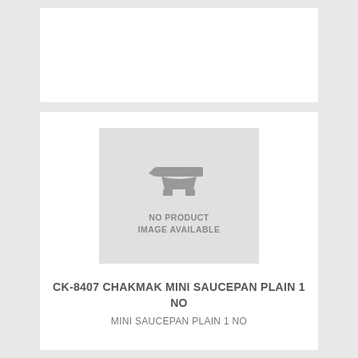[Figure (other): No product image available placeholder with anvil icon and text 'NO PRODUCT IMAGE AVAILABLE' on a light gray background]
CK-8407 CHAKMAK MINI SAUCEPAN PLAIN 1 NO
MINI SAUCEPAN PLAIN 1 NO